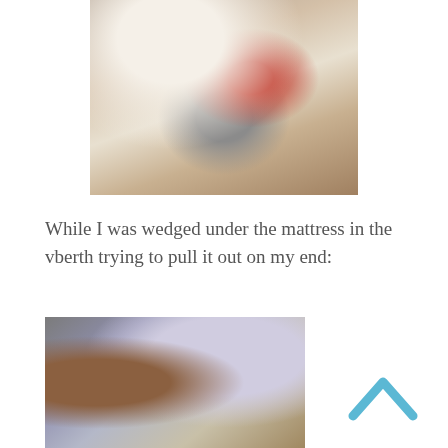[Figure (photo): Person wedged in a tight space on a boat, working near plumbing fixtures, pipes and red cloth visible]
While I was wedged under the mattress in the vberth trying to pull it out on my end:
[Figure (photo): Person wedged under a mattress in the v-berth of a boat, blue fabric and cushioning visible]